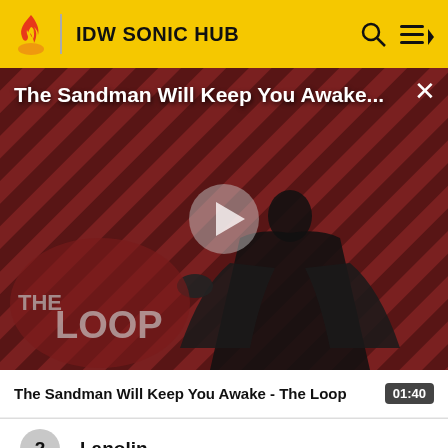IDW SONIC HUB
[Figure (screenshot): Video thumbnail showing a dark-cloaked figure against a red and black diagonal stripe background with THE LOOP logo, play button overlay, title overlay reading 'The Sandman Will Keep You Awake...' and a close X button]
The Sandman Will Keep You Awake - The Loop   01:40
2  Lanolin